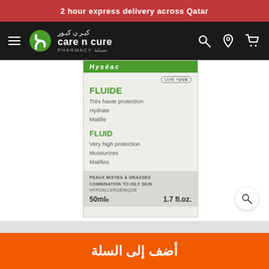2 hour express delivery across Qatar
[Figure (screenshot): Care n Cure Pharmacy navigation bar with hamburger menu, logo, search, location, and cart icons on dark background]
[Figure (photo): Product box showing Fluide/Fluid sunscreen with UVB+UVA protection, very high protection, moisturizes and matifies, 50ml / 1.7 fl.oz., for combination to oily skin, hypoallergenic]
أضف إلى السلة